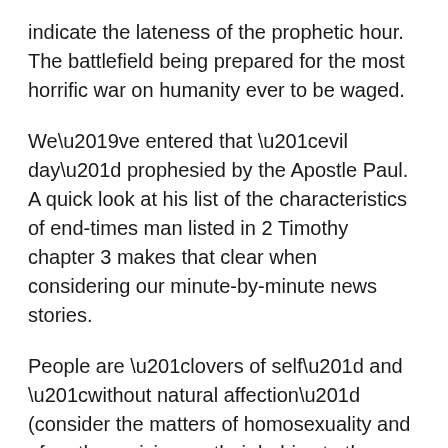indicate the lateness of the prophetic hour. The battlefield being prepared for the most horrific war on humanity ever to be waged.
We’ve entered that “evil day” prophesied by the Apostle Paul. A quick look at his list of the characteristics of end-times man listed in 2 Timothy chapter 3 makes that clear when considering our minute-by-minute news stories.
People are “lovers of self” and “without natural affection” (consider the matters of homosexuality and of mothers giving up their babies to the abortionists). People are “traitorous” (consider the lying, deception, and treachery of the so-called Deep State over the past few years). People are “unthankful,” “unholy,” and “deny the power of God.” (Consider that at least half of the people in our country don’t object or protest when political